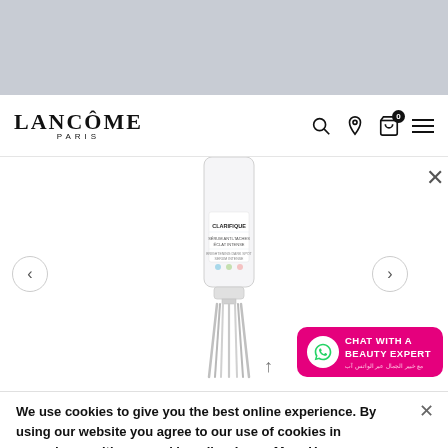[Figure (screenshot): Gray banner area at top of page, placeholder/advertisement region]
LANCÔME PARIS — navigation bar with search, store locator, cart (0), menu icons
[Figure (photo): Lancôme Clarifique serum product in white tube with silver applicator tip, shown on white background]
We use cookies to give you the best online experience. By using our website you agree to our use of cookies in accordance with our cookie policy. Learn More Here